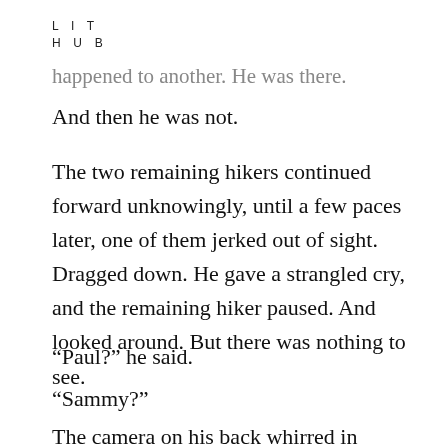LIT
HUB
happened to another. He was there.
And then he was not.
The two remaining hikers continued forward unknowingly, until a few paces later, one of them jerked out of sight. Dragged down. He gave a strangled cry, and the remaining hiker paused. And looked around. But there was nothing to see.
“Paul?” he said.
“Sammy?”
The camera on his back whirred in